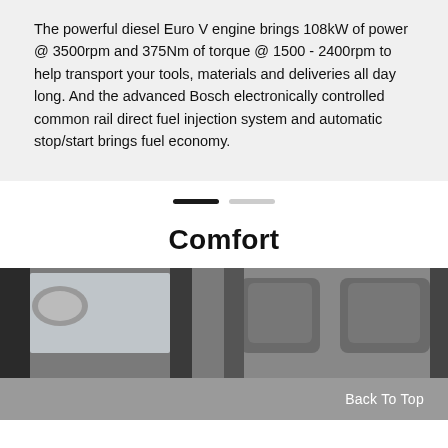The powerful diesel Euro V engine brings 108kW of power @ 3500rpm and 375Nm of torque @ 1500 - 2400rpm to help transport your tools, materials and deliveries all day long. And the advanced Bosch electronically controlled common rail direct fuel injection system and automatic stop/start brings fuel economy.
[Figure (other): Pagination indicator: two horizontal pill-shaped bars side by side — the left one is dark/active and the right one is light/inactive.]
Comfort
[Figure (photo): Black and white photograph showing the interior of a van: the left half shows the driver-side door frame, window, and side mirror area from inside; the right half shows two grey headrests of seats inside the vehicle.]
Back To Top